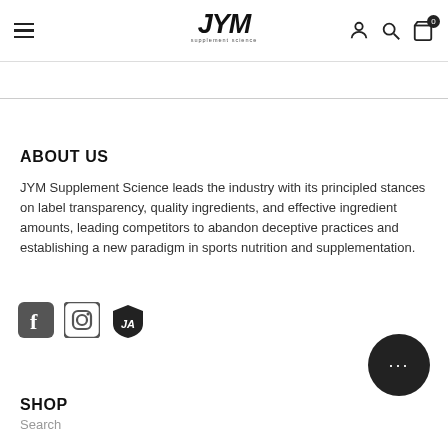JYM Supplement Science — navigation header with hamburger menu, logo, user/search/cart icons
ABOUT US
JYM Supplement Science leads the industry with its principled stances on label transparency, quality ingredients, and effective ingredient amounts, leading competitors to abandon deceptive practices and establishing a new paradigm in sports nutrition and supplementation.
[Figure (illustration): Social media icons row: Facebook, Instagram, and JYM shield logo]
SHOP
Search